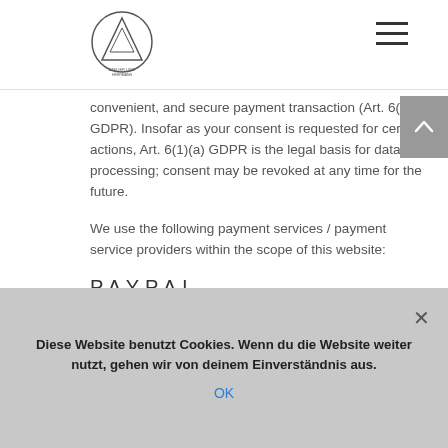[Figure (logo): Circular logo with triangle/mountain design and text]
convenient, and secure payment transaction (Art. 6(1)(f) GDPR). Insofar as your consent is requested for certain actions, Art. 6(1)(a) GDPR is the legal basis for data processing; consent may be revoked at any time for the future.
We use the following payment services / payment service providers within the scope of this website:
PAYPAL
The provider of this payment service is PayPal (Europe) S.à.r.l. et Cie, S.C.A., 22-24 Boulevard Royal, L-2449 Luxembourg (hereinafter “PayPal”).
Data transmission to the US is based on the Standard Contractual
Diese Website benutzt Cookies. Wenn du die Website weiter nutzt, gehen wir von deinem Einverständnis aus.